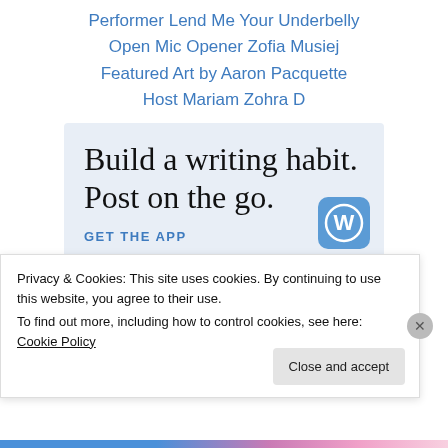Performer Lend Me Your Underbelly
Open Mic Opener Zofia Musiej
Featured Art by Aaron Pacquette
Host Mariam Zohra D
[Figure (illustration): WordPress app advertisement banner with text 'Build a writing habit. Post on the go.' and a 'GET THE APP' link with WordPress logo icon on a light blue background]
Privacy & Cookies: This site uses cookies. By continuing to use this website, you agree to their use.
To find out more, including how to control cookies, see here: Cookie Policy